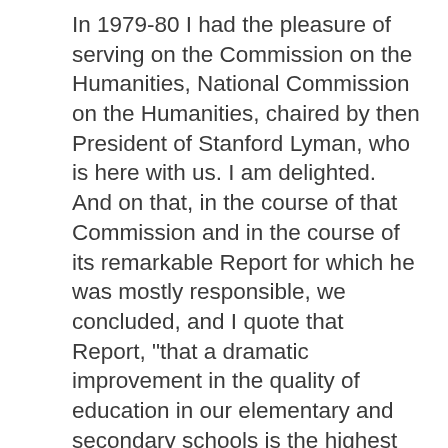In 1979-80 I had the pleasure of serving on the Commission on the Humanities, National Commission on the Humanities, chaired by then President of Stanford Lyman, who is here with us. I am delighted. And on that, in the course of that Commission and in the course of its remarkable Report for which he was mostly responsible, we concluded, and I quote that Report, "that a dramatic improvement in the quality of education in our elementary and secondary schools is the highest educational priority in the '80s." That Commission further said that "programs of school college collaboration offer the best opportunities to strengthen the instruction in the schools while providing intellectual renewal for teachers." That is what we hope happens at the Yale-New Haven Teachers Institute. The Commission also concluded, and we genuinely believe based on our experience in New Haven, that a partnership like this can be effective only if it is long-term, if funding can be